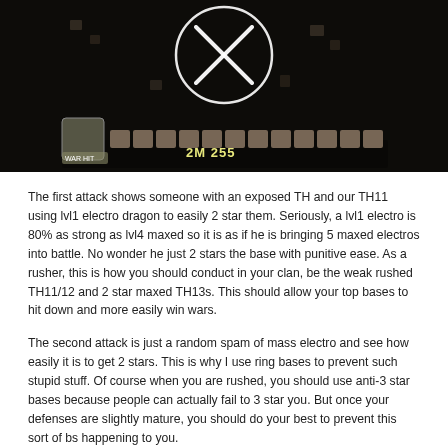[Figure (screenshot): A darkened screenshot of a mobile game (Clash of Clans) showing a base layout mid-attack with a large X symbol in a circle overlay, resource counters, and UI elements including pause and speed buttons.]
The first attack shows someone with an exposed TH and our TH11 using lvl1 electro dragon to easily 2 star them. Seriously, a lvl1 electro is 80% as strong as lvl4 maxed so it is as if he is bringing 5 maxed electros into battle. No wonder he just 2 stars the base with punitive ease. As a rusher, this is how you should conduct in your clan, be the weak rushed TH11/12 and 2 star maxed TH13s. This should allow your top bases to hit down and more easily win wars.
The second attack is just a random spam of mass electro and see how easily it is to get 2 stars. This is why I use ring bases to prevent such stupid stuff. Of course when you are rushed, you should use anti-3 star bases because people can actually fail to 3 star you. But once your defenses are slightly mature, you should do your best to prevent this sort of bs happening to you.
The third hit is my attack. Since most of my clan hit up, I was able to hit down and easily 3 star a much weaker enemy. The enemy's base was also an anti-2 star base which would be hard for my lower clan mates to 2 star. However, getting 3 stars on this base is no trouble for me at all.